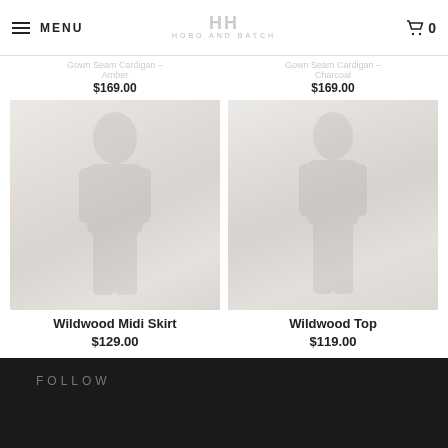MENU | HOBO AND BATCH | 0
Gown Seam Cardigan - Amber $169.00
Gown Seam Cardigan - Charcoal $169.00
[Figure (photo): Fashion product photo of Wildwood Midi Skirt, model wearing a long midi skirt, faded/light exposure]
Wildwood Midi Skirt
$129.00
[Figure (photo): Fashion product photo of Wildwood Top, model wearing a top outdoors, faded/light exposure]
Wildwood Top
$119.00
FOLLOW